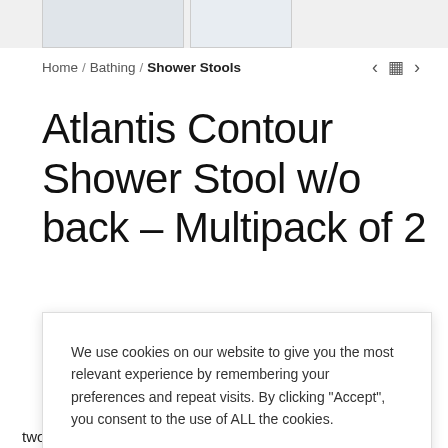[Figure (photo): Two product thumbnail images at the top of the page showing the Atlantis Contour Shower Stool]
Home / Bathing / Shower Stools
Atlantis Contour Shower Stool w/o back – Multipack of 2
We use cookies on our website to give you the most relevant experience by remembering your preferences and repeat visits. By clicking "Accept", you consent to the use of ALL the cookies.
Cookie settings  ACCEPT
...t and ...perforated for ...her side to ...The stools are ...d there are two versions available, one with a back rest and